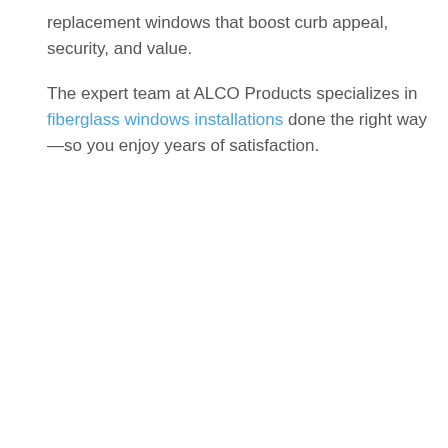replacement windows that boost curb appeal, security, and value.
The expert team at ALCO Products specializes in fiberglass windows installations done the right way—so you enjoy years of satisfaction.